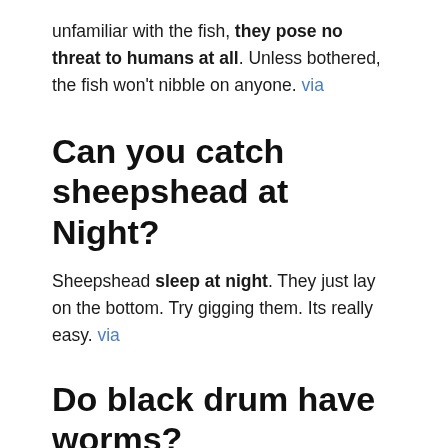unfamiliar with the fish, they pose no threat to humans at all. Unless bothered, the fish won't nibble on anyone. via
Can you catch sheepshead at Night?
Sheepshead sleep at night. They just lay on the bottom. Try gigging them. Its really easy. via
Do black drum have worms?
Worms found in black drum are most often Pseudogrillotia pleistacantha. Fishermen frequently find these white, one to three inch long worms when